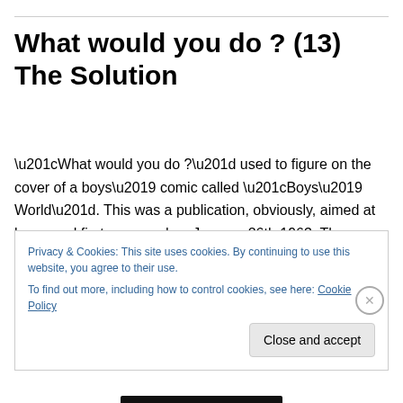What would you do ? (13) The Solution
“What would you do ?” used to figure on the cover of a boys’ comic called “Boys’ World”. This was a publication, obviously, aimed at boys, and first appeared on January 26th 1963. There were 89 issues before the comic was merged with Eagle in 1964. The last issue of “Boys’ World” came out on October 3rd 1964.
Privacy & Cookies: This site uses cookies. By continuing to use this website, you agree to their use.
To find out more, including how to control cookies, see here: Cookie Policy